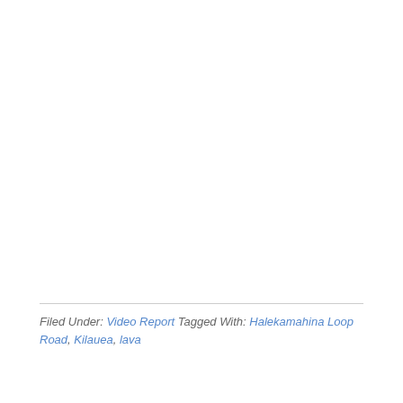Filed Under: Video Report Tagged With: Halekamahina Loop Road, Kilauea, lava